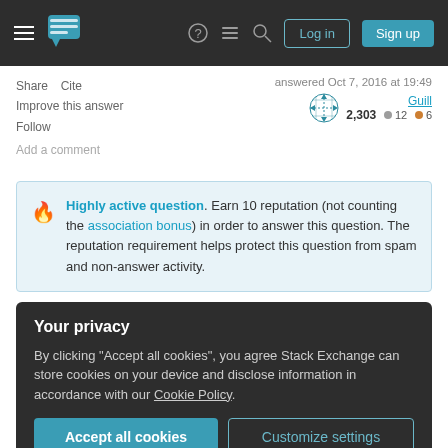Stack Exchange navigation header with Log in and Sign up buttons
Share   Cite
Improve this answer
Follow
answered Oct 7, 2016 at 19:49
Guill
2,303 ● 12 ● 6
Add a comment
Highly active question. Earn 10 reputation (not counting the association bonus) in order to answer this question. The reputation requirement helps protect this question from spam and non-answer activity.
Your privacy
By clicking "Accept all cookies", you agree Stack Exchange can store cookies on your device and disclose information in accordance with our Cookie Policy.
Accept all cookies   Customize settings